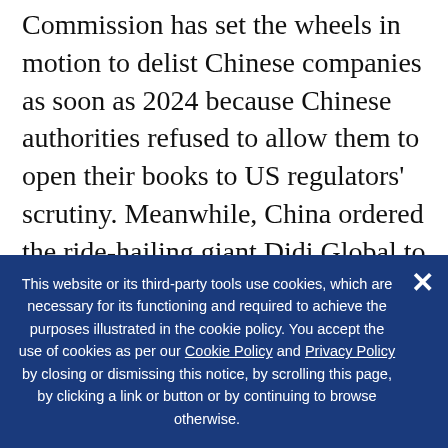Commission has set the wheels in motion to delist Chinese companies as soon as 2024 because Chinese authorities refused to allow them to open their books to US regulators' scrutiny. Meanwhile, China ordered the ride-hailing giant Didi Global to delist only months after its $4.4 billion initial public offering on the New York Stock Exchange. That order was only the latest peremptory move by Beijing to rein in internet and e-commerce giants like Alibaba Group and Tencent Holdings, whose shares likewise have plumbed new depths. All of this adds up to big losses for US investors and
This website or its third-party tools use cookies, which are necessary for its functioning and required to achieve the purposes illustrated in the cookie policy. You accept the use of cookies as per our Cookie Policy and Privacy Policy by closing or dismissing this notice, by scrolling this page, by clicking a link or button or by continuing to browse otherwise.